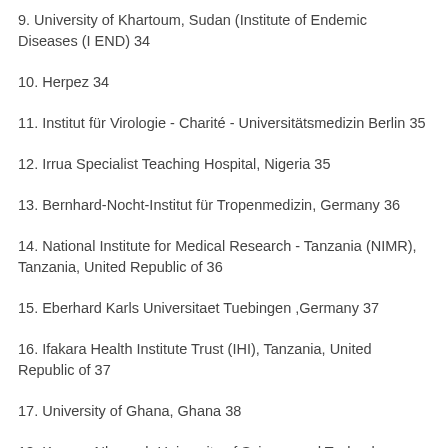9. University of Khartoum, Sudan (Institute of Endemic Diseases (I END) 34
10. Herpez 34
11. Institut für Virologie - Charité - Universitätsmedizin Berlin 35
12. Irrua Specialist Teaching Hospital, Nigeria 35
13. Bernhard-Nocht-Institut für Tropenmedizin, Germany 36
14. National Institute for Medical Research - Tanzania (NIMR), Tanzania, United Republic of 36
15. Eberhard Karls Universitaet Tuebingen ,Germany 37
16. Ifakara Health Institute Trust (IHI), Tanzania, United Republic of 37
17. University of Ghana, Ghana 38
18. Kwame Nkrumah University of Science and Technology (KNUS...